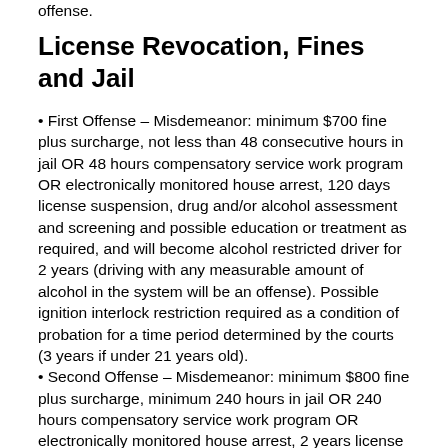offense.
License Revocation, Fines and Jail
• First Offense – Misdemeanor: minimum $700 fine plus surcharge, not less than 48 consecutive hours in jail OR 48 hours compensatory service work program OR electronically monitored house arrest, 120 days license suspension, drug and/or alcohol assessment and screening and possible education or treatment as required, and will become alcohol restricted driver for 2 years (driving with any measurable amount of alcohol in the system will be an offense). Possible ignition interlock restriction required as a condition of probation for a time period determined by the courts (3 years if under 21 years old).
• Second Offense – Misdemeanor: minimum $800 fine plus surcharge, minimum 240 hours in jail OR 240 hours compensatory service work program OR electronically monitored house arrest, 2 years license revocation, drug and/or alcohol assessment and screening and possible education or treatment as required, and will become alcohol restricted driver for 10 years (driving with any measurable amount of alcohol in the system will be an offense). Ignition interlock restriction required as a condition of probation for a time period determined by the courts